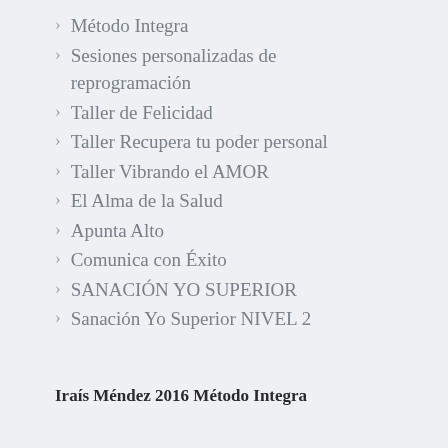Método Integra
Sesiones personalizadas de reprogramación
Taller de Felicidad
Taller Recupera tu poder personal
Taller Vibrando el AMOR
El Alma de la Salud
Apunta Alto
Comunica con Éxito
SANACIÓN YO SUPERIOR
Sanación Yo Superior NIVEL 2
Iraís Méndez 2016 Método Integra